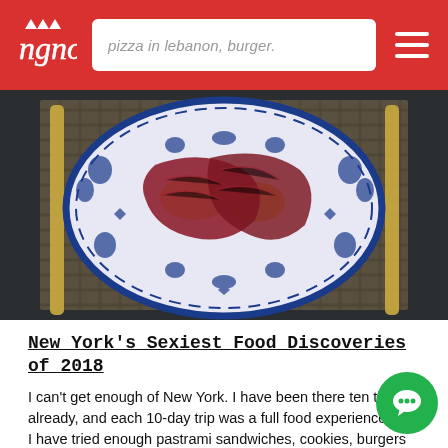pizza in lebanon, burger.
[Figure (photo): Overhead shot of a blue and white decorative plate with prosciutto or cured meat slices draped over yellow food items, placed on a woven mat with gold chopsticks on either side.]
New York's Sexiest Food Discoveries of 2018
I can't get enough of New York. I have been there ten times already, and each 10-day trip was a full food experience one... I have tried enough pastrami sandwiches, cookies, burgers and s to feel the nostalgia of this city that moves so fast. Surely there's more to discover and more to enjoy.